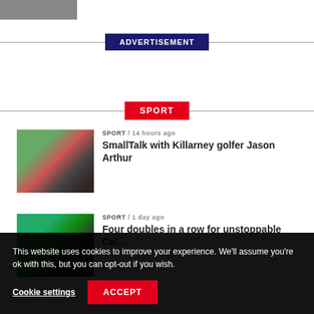[Figure (photo): Partial thumbnail photo at top left]
ADVERTISEMENT
SPORT
[Figure (photo): Golf article thumbnail showing golfer and another person outdoors]
SPORT / 14 hours ago
SmallTalk with Killarney golfer Jason Arthur
[Figure (photo): Rugby article thumbnail showing players celebrating]
SPORT / 1 day ago
Four doubles in a row for unstoppable Cel...
This website uses cookies to improve your experience. We'll assume you're ok with this, but you can opt-out if you wish.
Cookie settings
ACCEPT